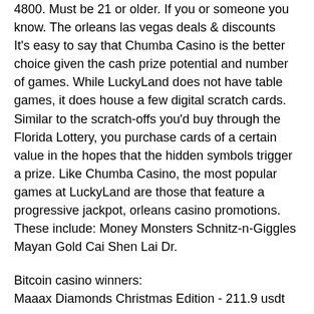4800. Must be 21 or older. If you or someone you know. The orleans las vegas deals &amp; discounts It's easy to say that Chumba Casino is the better choice given the cash prize potential and number of games. While LuckyLand does not have table games, it does house a few digital scratch cards. Similar to the scratch-offs you'd buy through the Florida Lottery, you purchase cards of a certain value in the hopes that the hidden symbols trigger a prize. Like Chumba Casino, the most popular games at LuckyLand are those that feature a progressive jackpot, orleans casino promotions. These include: Money Monsters Schnitz-n-Giggles Mayan Gold Cai Shen Lai Dr.
Bitcoin casino winners:
Maaax Diamonds Christmas Edition - 211.9 usdt